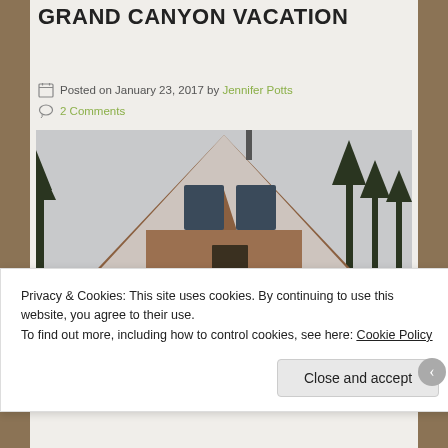GRAND CANYON VACATION
Posted on January 23, 2017 by Jennifer Potts
2 Comments
[Figure (photo): A-frame log cabin covered in snow with pine trees in the background and a snowy landscape]
Privacy & Cookies: This site uses cookies. By continuing to use this website, you agree to their use.
To find out more, including how to control cookies, see here: Cookie Policy
Close and accept